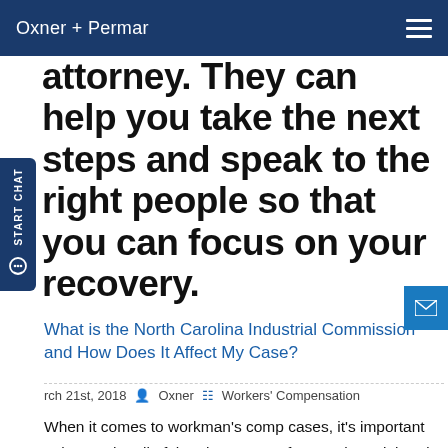Oxner + Permar
attorney. They can help you take the next steps and speak to the right people so that you can focus on your recovery.
What is the North Carolina Industrial Commission and How Does It Affect My Case?
March 21st, 2018  Oxner  Workers' Compensation
When it comes to workman's comp cases, it's important to know who all of the players are. If you've been injured at work, then there's no doubt that you've probably heard of the North Carolina Industrial Commission (often abbreviated to NCIC or sometimes just IC). The NCIC is the government agency that's in charge of handling all workers'